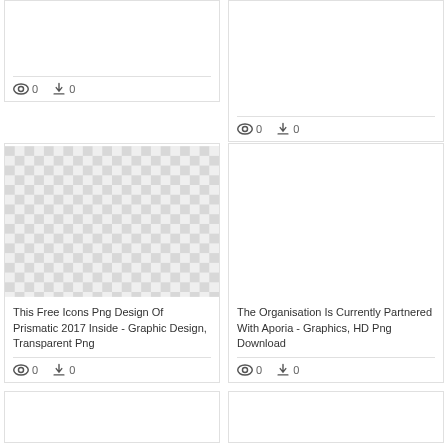[Figure (screenshot): Card showing view count 0 and download count 0, cut off at top]
[Figure (screenshot): Card on right side showing view count 0 and download count 0, cut off at top]
[Figure (illustration): Checkerboard transparent background pattern representing a PNG image]
This Free Icons Png Design Of Prismatic 2017 Inside - Graphic Design, Transparent Png
0  0 (view and download counts for checkerboard card)
The Organisation Is Currently Partnered With Aporia - Graphics, HD Png Download
0  0 (view and download counts for organisation card)
[Figure (screenshot): Bottom-left card, partially visible, content cut off]
[Figure (screenshot): Bottom-right card, partially visible, content cut off]